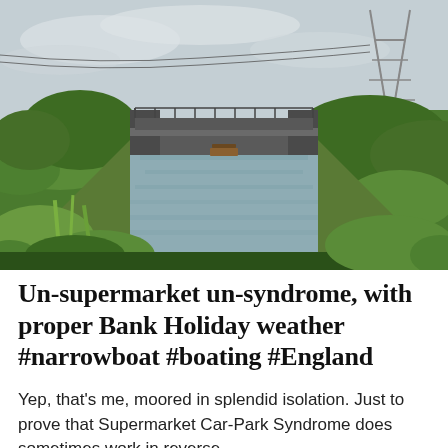[Figure (photo): Photograph of an English canal scene with a railway bridge crossing the water, green vegetation on both banks, a narrowboat visible in the distance under the bridge, and an electricity pylon in the upper right. Overcast sky.]
Un-supermarket un-syndrome, with proper Bank Holiday weather #narrowboat #boating #England
Yep, that's me, moored in splendid isolation. Just to prove that Supermarket Car-Park Syndrome does sometimes work in reverse